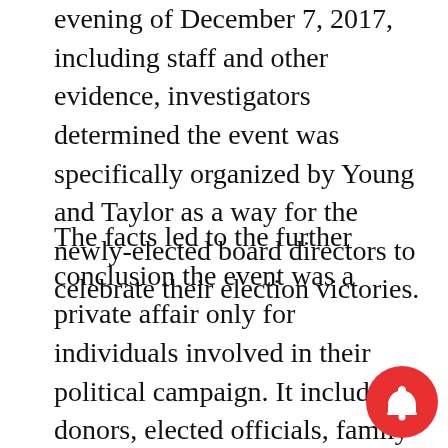evening of December 7, 2017, including staff and other evidence, investigators determined the event was specifically organized by Young and Taylor as a way for the newly-elected board directors to celebrate their election victories.
The facts led to the further conclusion the event was a private affair only for individuals involved in their political campaign. It included donors, elected officials, family members and others who were in one way or another connected to the campaigns and it was not intended for the pubic or the district at large.